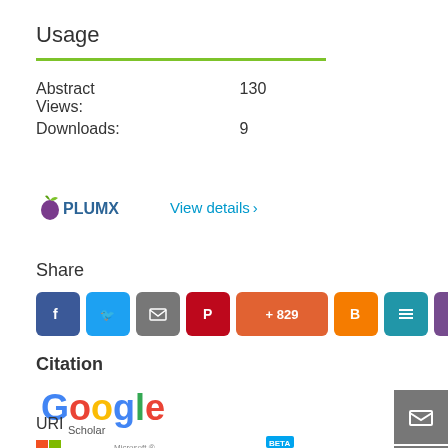Usage
| Metric | Value |
| --- | --- |
| Abstract Views: | 130 |
| Downloads: | 9 |
PlumX View details >
Share
[Figure (other): Social share buttons: Facebook, Twitter, Email, Pinterest, +829, Blogger, List, Mendeley, ResearchGate]
Citation
[Figure (logo): Google Scholar logo]
[Figure (logo): Microsoft Academic Search logo]
URI